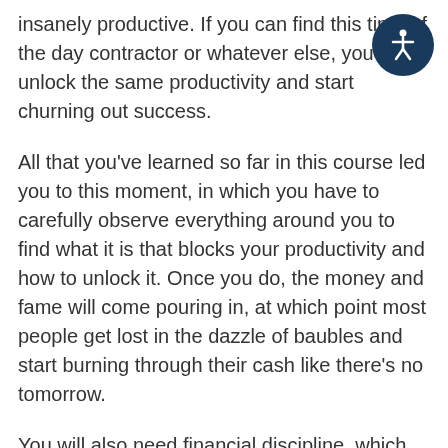insanely productive. If you can find this time of the day contractor or whatever else, you can unlock the same productivity and start churning out success.
All that you've learned so far in this course led you to this moment, in which you have to carefully observe everything around you to find what it is that blocks your productivity and how to unlock it. Once you do, the money and fame will come pouring in, at which point most people get lost in the dazzle of baubles and start burning through their cash like there's no tomorrow.
You will also need financial discipline, which means investing back into your business, with some small financial reserves for unexpected expenses. The workers are the lifeblood of your company, so invest in them as well. No matter how the market changes, this consistent strategy of investing back into your fundamentals will make your business grow and